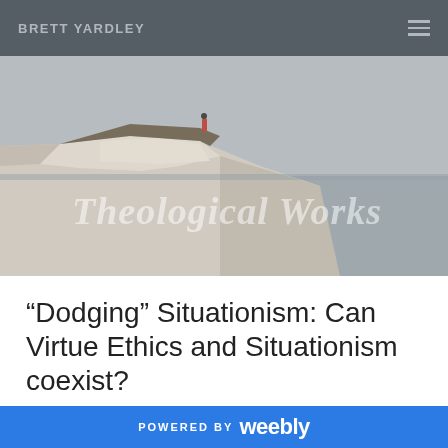BRETT YARDLEY
[Figure (photo): A person standing on the edge of a white chalk cliff overlooking a grey sea. The image is sepia/muted toned. Overlaid text reads 'Theological Works' in italic serif font.]
“Dodging” Situationism: Can Virtue Ethics and Situationism coexist?
3/26/2014
0 Comments
POWERED BY weebly